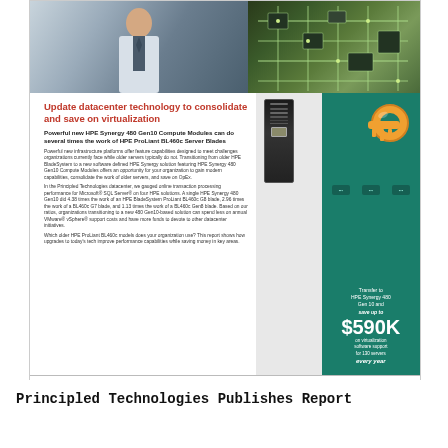[Figure (photo): Screenshot of an HPE marketing document page showing a datacenter worker and circuit board at top, document text about HPE Synergy 480 Gen10 Compute Modules, and a teal sidebar with a key graphic and '$590K' savings callout.]
Update datacenter technology to consolidate and save on virtualization
Powerful new HPE Synergy 480 Gen10 Compute Modules can do several times the work of HPE ProLiant BL460c Server Blades
Powerful new infrastructure platforms offer feature capabilities designed to meet challenges organizations currently face while older servers typically do not. Transitioning from older HPE BladeSystem to a new software defined HPE Synergy solution featuring HPE Synergy 480 Gen10 Compute Modules offers an opportunity for your organization to gain modern capabilities, consolidate the work of older servers, and save on OpEx.
In the Principled Technologies datacenter, we gauged online transaction processing performance for Microsoft® SQL Server® on four HPE solutions. A single HPE Synergy 480 Gen10 did 4.38 times the work of an HPE BladeSystem ProLiant BL460c G8 blade, 2.96 times the work of a BL460c G7 blade, and 1.13 times the work of a BL460c Gen8 blade. Based on our ratios, organizations transitioning to a new 480 Gen10-based solution can spend less on annual VMware® vSphere® support costs and have more funds to devote to other datacenter initiatives.
Which older HPE ProLiant BL460c models does your organization use? This report shows how upgrades to today's tech improve performance capabilities while saving money in key areas.
Transfer to HPE Synergy 480 Gen10 and save up to $590K on virtualization software support for 130 servers every year
Update datacenter technology to consolidate and save on virtualization
November 2017
Principled Technologies Publishes Report